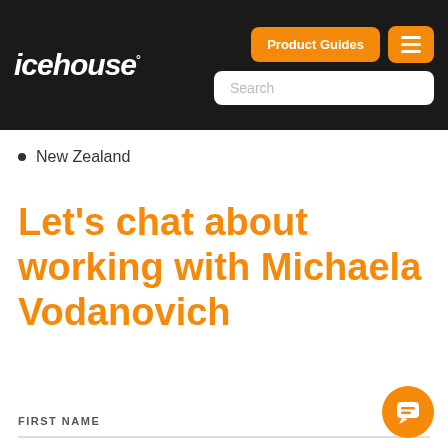icehouse — Product Guides [menu] [Search]
New Zealand
Let's chat about working with Michaela Vodanovich
FIRST NAME